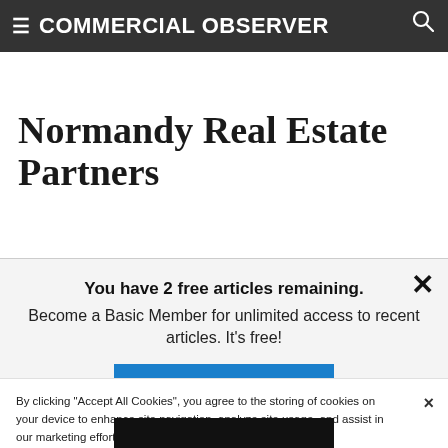COMMERCIAL OBSERVER
Normandy Real Estate Partners
You have 2 free articles remaining. Become a Basic Member for unlimited access to recent articles. It's free!
SIGN UP NOW
By clicking "Accept All Cookies", you agree to the storing of cookies on your device to enhance site navigation, analyze site usage, and assist in our marketing efforts.